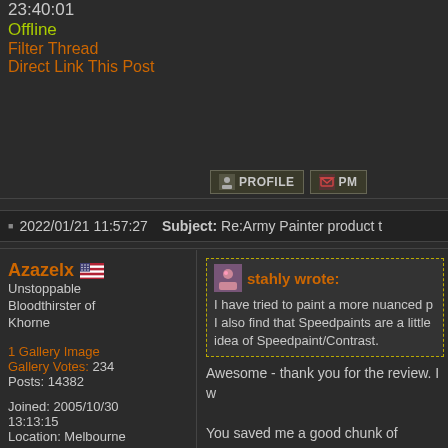23:40:01
Offline
Filter Thread
Direct Link This Post
[Figure (screenshot): PROFILE and PM buttons]
2022/01/21 11:57:27  Subject: Re:Army Painter product t
Azazelx
Unstoppable Bloodthirster of Khorne
1 Gallery Image
Gallery Votes: 234
Posts: 14382
Joined: 2005/10/30 13:13:15
Location: Melbourne.au
Online
Filter Thread
Direct Link This Post
stahly wrote:
I have tried to paint a more nuanced p
I also find that Speedpaints are a little
idea of Speedpaint/Contrast.
Awesome - thank you for the review. I w
You saved me a good chunk of money.
This message was edited 1 time. Last upd
[Figure (screenshot): PROFILE and PM buttons at bottom]